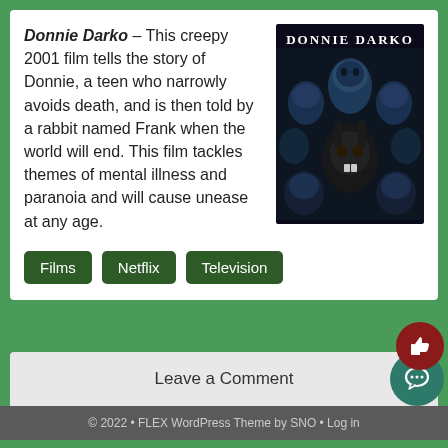Donnie Darko – This creepy 2001 film tells the story of Donnie, a teen who narrowly avoids death, and is then told by a rabbit named Frank when the world will end. This film tackles themes of mental illness and paranoia and will cause unease at any age.
[Figure (photo): Donnie Darko movie poster with dark blue-toned faces of cast members and a rabbit mask in the center, with DONNIE DARKO text at top]
Films
Netflix
Television
Leave a Comment
© 2022 • FLEX WordPress Theme by SNO • Log in